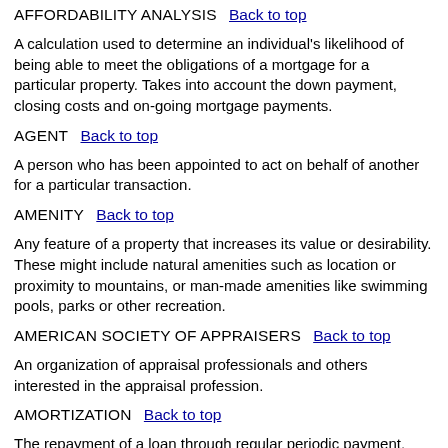AFFORDABILITY ANALYSIS
A calculation used to determine an individual's likelihood of being able to meet the obligations of a mortgage for a particular property. Takes into account the down payment, closing costs and on-going mortgage payments.
AGENT
A person who has been appointed to act on behalf of another for a particular transaction.
AMENITY
Any feature of a property that increases its value or desirability. These might include natural amenities such as location or proximity to mountains, or man-made amenities like swimming pools, parks or other recreation.
AMERICAN SOCIETY OF APPRAISERS
An organization of appraisal professionals and others interested in the appraisal profession.
AMORTIZATION
The repayment of a loan through regular periodic payment.
AMORTIZATION SCHEDULE
The breakdown of individual payments throughout the life of an amortized loan, showing both principal contribution and debt service (interest) fees.